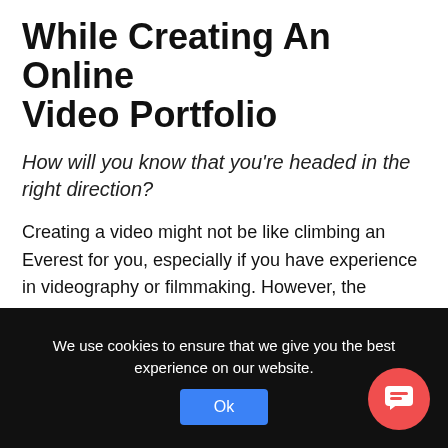While Creating An Online Video Portfolio
How will you know that you're headed in the right direction?
Creating a video might not be like climbing an Everest for you, especially if you have experience in videography or filmmaking. However, the difficult part is to navigate your progress and ensure that you're headed in the right direction.
Don't worry, and we're getting to that with our 7
We use cookies to ensure that we give you the best experience on our website.